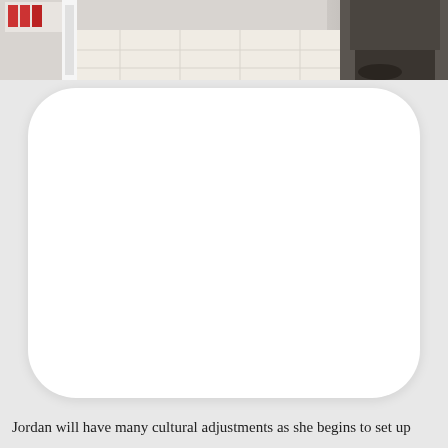[Figure (photo): Top portion of a photo showing a store interior with tiled floor, shelving on the left with products, and a person in dark clothing on the right side]
[Figure (other): Large white rounded rectangle shape on a light gray background, appearing as a blank white card or placeholder]
Jordan will have many cultural adjustments as she begins to set up